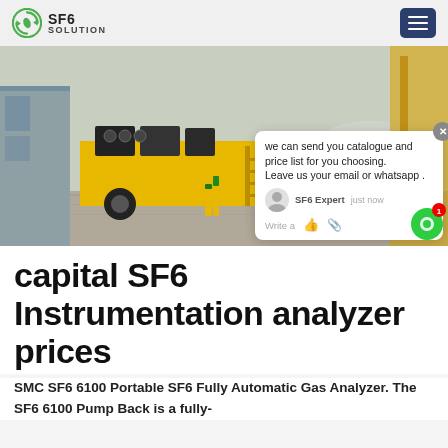SF6 SOLUTION
[Figure (photo): Yellow SF6 service truck parked at an industrial/substation site with large cylindrical equipment in the background.]
capital SF6 Instrumentation analyzer prices
SMC SF6 6100 Portable SF6 Fully Automatic Gas Analyzer. The SF6 6100 Pump Back is a fully-